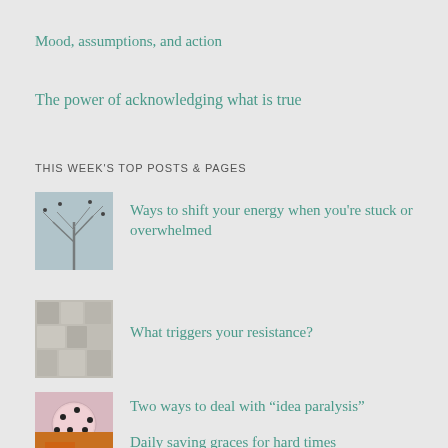Mood, assumptions, and action
The power of acknowledging what is true
THIS WEEK'S TOP POSTS & PAGES
[Figure (photo): Winter tree branches photograph thumbnail]
Ways to shift your energy when you're stuck or overwhelmed
[Figure (photo): Stone or tile texture photograph thumbnail]
What triggers your resistance?
[Figure (photo): Decorative ball with pins photograph thumbnail]
Two ways to deal with "idea paralysis"
[Figure (photo): Warm colored food or nature photograph thumbnail]
Daily saving graces for hard times